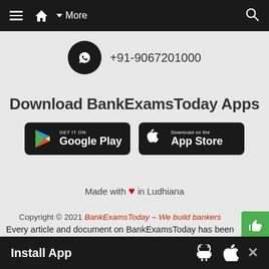≡  🏠  ▼ More  🔍
[Figure (logo): WhatsApp icon in black circle with phone number +91-9067201000]
Download BankExamsToday Apps
[Figure (screenshot): Google Play Store badge - GET IT ON Google Play]
[Figure (screenshot): Apple App Store badge - Download on the App Store]
Made with ❤ in Ludhiana
Copyright © 2021 BankExamsToday – We build bankers Every article and document on BankExamsToday has been made with a lot of love and hard work. If you copy anything we will hunt you down and we mean
Install App  [Android icon] [Apple icon]  ✕